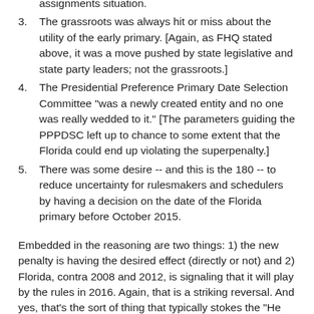assignments situation.
3. The grassroots was always hit or miss about the utility of the early primary. [Again, as FHQ stated above, it was a move pushed by state legislative and state party leaders; not the grassroots.]
4. The Presidential Preference Primary Date Selection Committee "was a newly created entity and no one was really wedded to it." [The parameters guiding the PPPDSC left up to chance to some extent that the Florida could end up violating the superpenalty.]
5. There was some desire -- and this is the 180 -- to reduce uncertainty for rulesmakers and schedulers by having a decision on the date of the Florida primary before October 2015.
Embedded in the reasoning are two things: 1) the new penalty is having the desired effect (directly or not) and 2) Florida, contra 2008 and 2012, is signaling that it will play by the rules in 2016. Again, that is a striking reversal. And yes, that's the sort of thing that typically stokes the "He has to be running" chorus concerning Rubio in 2016. It is a move that is made with the most political of political moves serving as